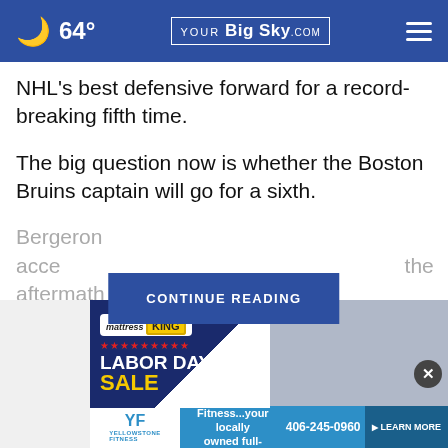64° YourBigSky.com
NHL's best defensive forward for a record-breaking fifth time.
The big question now is whether the Boston Bruins captain will go for a sixth.
Bergeron acce the aftermath
[Figure (other): CONTINUE READING button overlay]
[Figure (other): Mattress King Labor Day Sale advertisement banner]
[Figure (other): Yellowstone Fitness locally owned full-service gym advertisement with phone number 406-245-0960 and Learn More button]